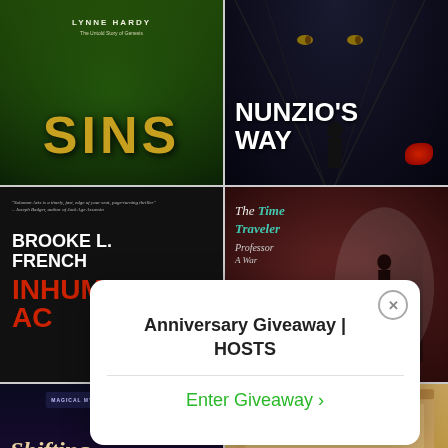[Figure (photo): Book cover grid showing 6 book covers in a 2-column layout: SINS by Lynne Hardy (green/dark), NUNZIO'S WAY (dark thriller), INHUMAN ACT by Brooke L. French (dark), The Time Traveler Professor (dark red), Shifting - Magical Mystery Book Club, and a cardboard box/package. A popup overlay reads 'Anniversary Giveaway | HOSTS' with 'Enter Giveaway >' button.]
Anniversary Giveaway | HOSTS
Enter Giveaway ›